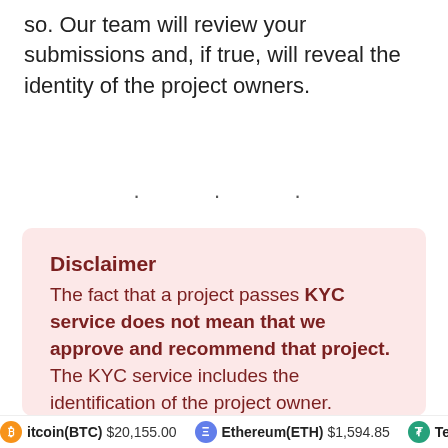so. Our team will review your submissions and, if true, will reveal the identity of the project owners.
. . .
Disclaimer
The fact that a project passes KYC service does not mean that we approve and recommend that project. The KYC service includes the identification of the project owner. Therefore, this service will assist the
Bitcoin(BTC) $20,155.00   Ethereum(ETH) $1,594.85   Tether